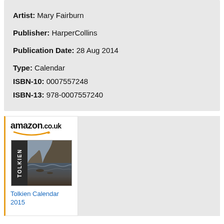Artist: Mary Fairburn
Publisher: HarperCollins
Publication Date: 28 Aug 2014
Type: Calendar
ISBN-10: 0007557248
ISBN-13: 978-0007557240
[Figure (screenshot): Amazon.co.uk product listing for Tolkien Calendar 2015, showing the Amazon logo with smile, a book cover image with dark spine labeled TOLKIEN, and a link text 'Tolkien Calendar 2015' in blue.]